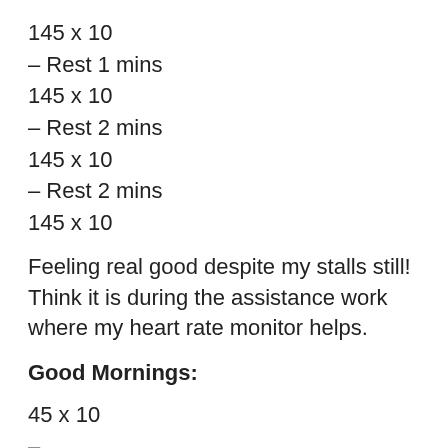145 x 10
– Rest 1 mins
145 x 10
– Rest 2 mins
145 x 10
– Rest 2 mins
145 x 10
Feeling real good despite my stalls still! Think it is during the assistance work where my heart rate monitor helps.
Good Mornings:
45 x 10
–
75 x 10
– Rest 1.5 mins